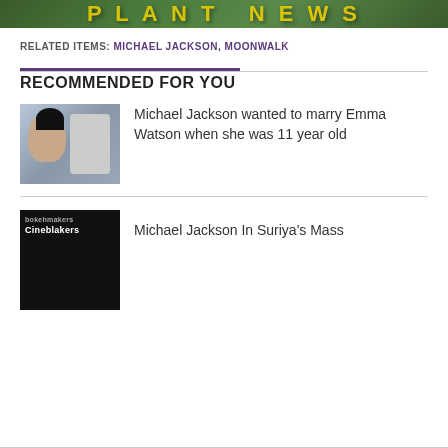[Figure (photo): Top banner image with greenish background and bold yellow text partially visible]
RELATED ITEMS: MICHAEL JACKSON, MOONWALK
RECOMMENDED FOR YOU
[Figure (photo): Thumbnail photo of Michael Jackson smiling with dark curly hair]
Michael Jackson wanted to marry Emma Watson when she was 11 year old
[Figure (photo): Dark thumbnail image with text overlaid showing bokehmakers branding]
Michael Jackson In Suriya's Mass